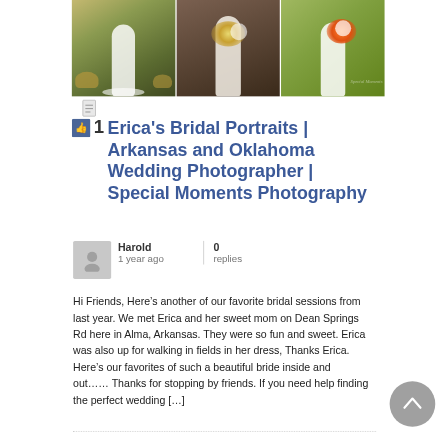[Figure (photo): Three wedding/bridal portrait photos arranged side by side: left shows bride in field with hay bales, center shows bride holding bouquet in dark setting, right shows bride with colorful bouquet in outdoor setting]
👍 1  Erica's Bridal Portraits | Arkansas and Oklahoma Wedding Photographer | Special Moments Photography
Harold
1 year ago
0 replies
Hi Friends, Here's another of our favorite bridal sessions from last year.  We met Erica and her sweet mom on Dean Springs Rd here in Alma, Arkansas.  They were so fun and sweet.  Erica was also up for walking in fields in her dress, Thanks Erica.  Here's our favorites of such a beautiful bride inside and out…… Thanks for stopping by friends.  If you need help finding the perfect wedding [...]